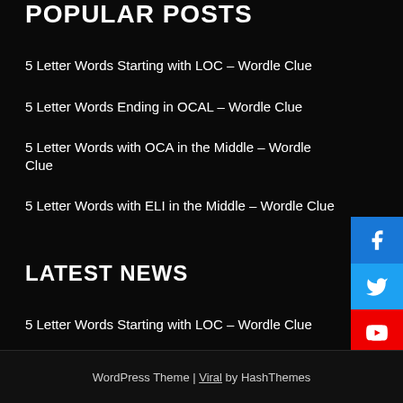POPULAR POSTS
5 Letter Words Starting with LOC – Wordle Clue
5 Letter Words Ending in OCAL – Wordle Clue
5 Letter Words with OCA in the Middle – Wordle Clue
5 Letter Words with ELI in the Middle – Wordle Clue
LATEST NEWS
5 Letter Words Starting with LOC – Wordle Clue
5 Letter Words Ending in OCAL – Wordle Clue
5 Letter Words with OCA in the Middle – Wordle Clue
5 Letter Words with ELI in the Middle – Wordle Clue
WordPress Theme | Viral by HashThemes